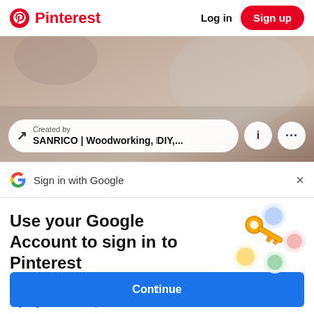Pinterest  Log in  Sign up
[Figure (photo): Pinterest pin image showing woodworking/DIY content with a 'Created by SANRICO | Woodworking, DIY,...' pill overlay and info/more icon buttons]
Sign in with Google
Use your Google Account to sign in to Pinterest
No more passwords to remember. Signing in is fast, simple and secure.
[Figure (illustration): Google sign-in key illustration with colorful circles and a gold key]
Continue